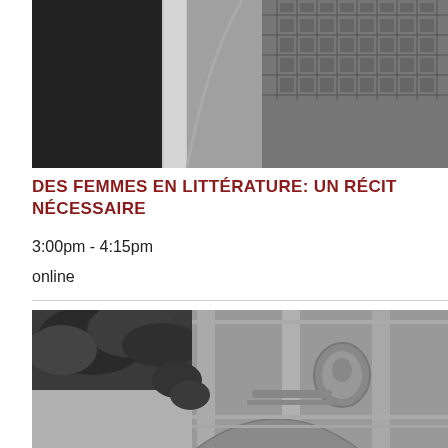[Figure (photo): Black and white photograph of an ornate classical architectural arch or monument, viewed from below at an angle, showing decorative ceiling details and stonework]
DES FEMMES EN LITTÉRATURE: UN RÉCIT NÉCESSAIRE
3:00pm - 4:15pm
online
[Figure (photo): Black and white photograph of a classical ornate building facade with decorative carvings, medallions, and foliage visible in the foreground]